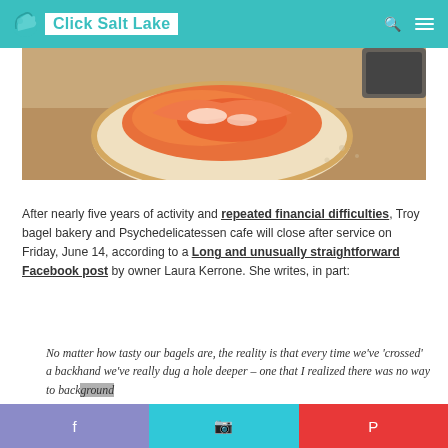Click Salt Lake
[Figure (photo): Close-up photo of a bagel with orange salmon/lox topping on a light background]
After nearly five years of activity and repeated financial difficulties, Troy bagel bakery and Psychedelicatessen cafe will close after service on Friday, June 14, according to a Long and unusually straightforward Facebook post by owner Laura Kerrone. She writes, in part:
No matter how tasty our bagels are, the reality is that every time we've 'crossed' a backhand we've really dug a hole deeper – one that I realized there was no way to back ground